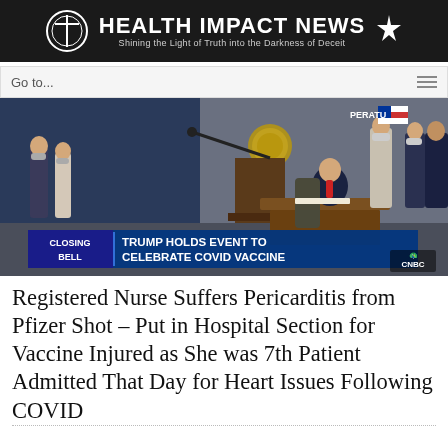HEALTH IMPACT NEWS — Shining the Light of Truth into the Darkness of Deceit
Go to...
[Figure (photo): CNBC news footage screenshot showing a person signing documents at a desk in a formal setting with the chyron: CLOSING BELL — TRUMP HOLDS EVENT TO CELEBRATE COVID VACCINE]
Registered Nurse Suffers Pericarditis from Pfizer Shot – Put in Hospital Section for Vaccine Injured as She was 7th Patient Admitted That Day for Heart Issues Following COVID